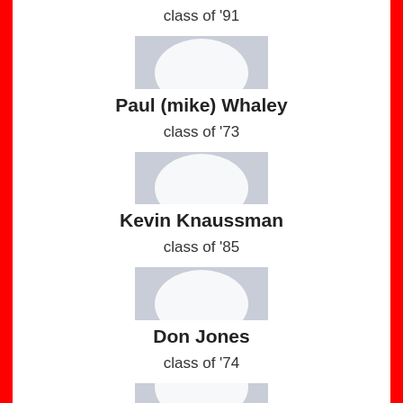class of '91
[Figure (photo): Default avatar placeholder image for Paul (mike) Whaley]
Paul (mike) Whaley
class of '73
[Figure (photo): Default avatar placeholder image for Kevin Knaussman]
Kevin Knaussman
class of '85
[Figure (photo): Default avatar placeholder image for Don Jones]
Don Jones
class of '74
[Figure (photo): Default avatar placeholder image for fourth person (partially visible)]